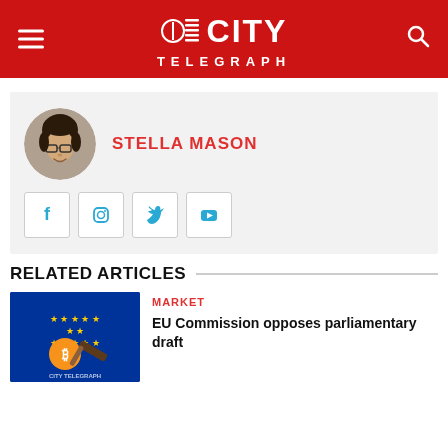City Telegraph
[Figure (photo): Circular portrait photo of Stella Mason, a young woman with dark hair and glasses, smiling]
STELLA MASON
[Figure (illustration): Social media icons: Facebook, Instagram, Twitter, YouTube]
RELATED ARTICLES
[Figure (photo): EU flag with bitcoin coin and gavel on top, City Telegraph watermark visible]
MARKET
EU Commission opposes parliamentary draft